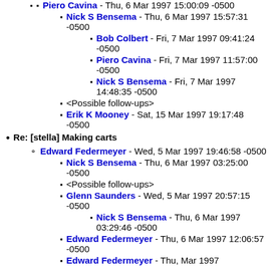Piero Cavina - Thu, 6 Mar 1997 15:00:09 -0500
Nick S Bensema - Thu, 6 Mar 1997 15:57:31 -0500
Bob Colbert - Fri, 7 Mar 1997 09:41:24 -0500
Piero Cavina - Fri, 7 Mar 1997 11:57:00 -0500
Nick S Bensema - Fri, 7 Mar 1997 14:48:35 -0500
<Possible follow-ups>
Erik K Mooney - Sat, 15 Mar 1997 19:17:48 -0500
Re: [stella] Making carts
Edward Federmeyer - Wed, 5 Mar 1997 19:46:58 -0500
Nick S Bensema - Thu, 6 Mar 1997 03:25:00 -0500
<Possible follow-ups>
Glenn Saunders - Wed, 5 Mar 1997 20:57:15 -0500
Nick S Bensema - Thu, 6 Mar 1997 03:29:46 -0500
Edward Federmeyer - Thu, 6 Mar 1997 12:06:57 -0500
Edward Federmeyer - Thu, Mar 1997...